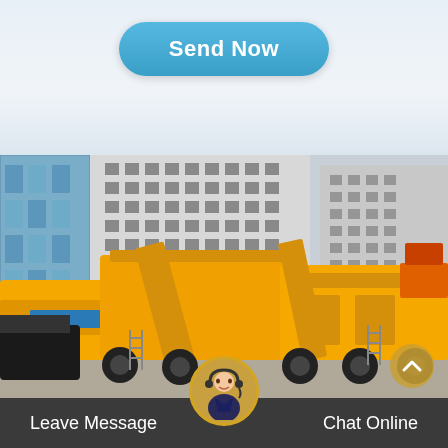[Figure (other): Blue rounded button labeled 'Send Now' on a light blue-grey gradient background]
[Figure (photo): Large yellow industrial mobile crushing/screening plant machinery parked in front of multi-story buildings in an urban setting]
Leave Message
Chat Online